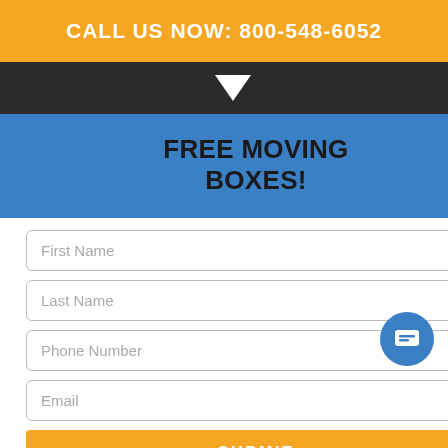CALL US NOW: 800-548-6052
FREE MOVING BOXES!
le plenty of different
hing can surprise our
yland. In case we encounter
hake sure to find a way to
rms that may occur. That is
to recommend us to their
. Our main goal is customer
we achieve that, we know
ob.
VOID WHERE PROHIBITED. LIMIT ONE REDEMPTION PER HOUSEHOLD. FREE BOXES AND SUPPLIES WITH A BOOKED MOVE.
[Figure (screenshot): Moving boxes photo bottom right]